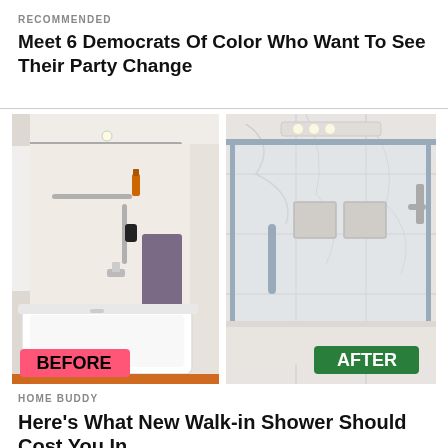RECOMMENDED
Meet 6 Democrats Of Color Who Want To See Their Party Change
[Figure (photo): Before and after bathroom renovation. Left panel shows a white bathtub with shower, grab bars, and a purple towel with a pink 'BEFORE' label. Right panel shows a modern marble walk-in shower with glass door and chrome fixtures with a green 'AFTER' label.]
HOME BUDDY
Here's What New Walk-in Shower Should Cost You In